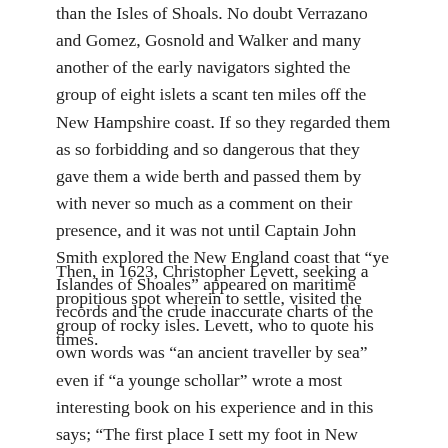than the Isles of Shoals. No doubt Verrazano and Gomez, Gosnold and Walker and many another of the early navigators sighted the group of eight islets a scant ten miles off the New Hampshire coast. If so they regarded them as so forbidding and so dangerous that they gave them a wide berth and passed them by with never so much as a comment on their presence, and it was not until Captain John Smith explored the New England coast that “ye Islandes of Shoales” appeared on maritime records and the crude inaccurate charts of the times.
Then, in 1623, Christopher Levett, seeking a propitious spot wherein to settle, visited the group of rocky isles. Levett, who to quote his own words was “an ancient traveller by sea” even if “a younge schollar” wrote a most interesting book on his experience and in this says; “The first place I sett my foot in New England was the Isles of Shoulds.” He adds, “Upon these islands I neither could see one goode grounde as to make a garden. The place is